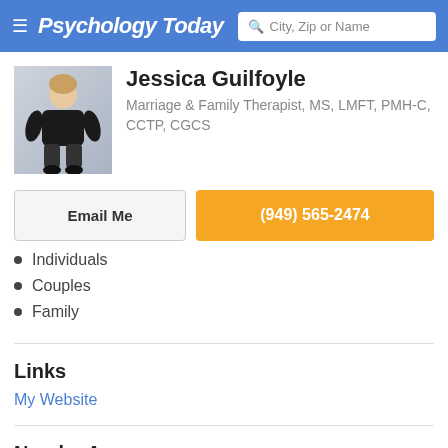Psychology Today — City, Zip or Name search
Jessica Guilfoyle
Marriage & Family Therapist, MS, LMFT, PMH-C, CCTP, CGCS
Email Me
(949) 565-2474
Individuals
Couples
Family
Links
My Website
Nearby Areas